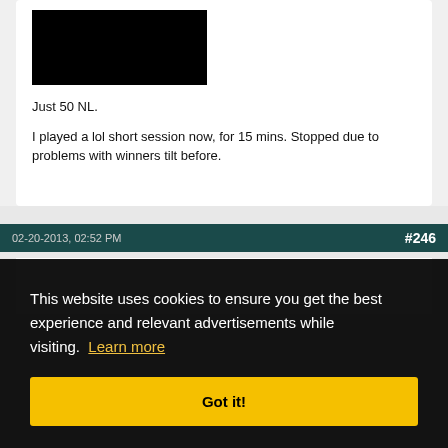[Figure (photo): Black rectangle image placeholder at top of post]
Just 50 NL.
I played a lol short session now, for 15 mins. Stopped due to problems with winners tilt before.
02-20-2013, 02:52 PM   #246
This website uses cookies to ensure you get the best experience and relevant advertisements while visiting. Learn more
Got it!